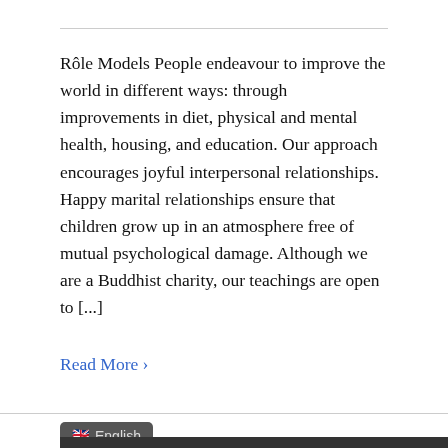Rôle Models People endeavour to improve the world in different ways: through improvements in diet, physical and mental health, housing, and education. Our approach encourages joyful interpersonal relationships. Happy marital relationships ensure that children grow up in an atmosphere free of mutual psychological damage. Although we are a Buddhist charity, our teachings are open to [...]
Read More ›